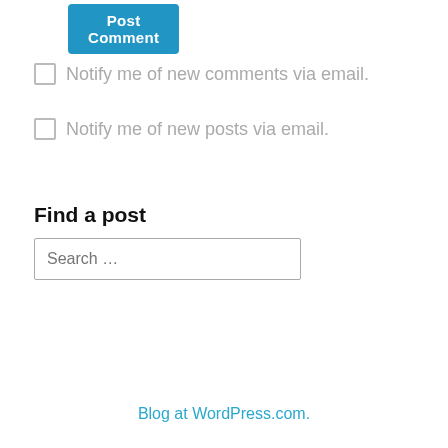Post Comment
Notify me of new comments via email.
Notify me of new posts via email.
Find a post
Search …
Blog at WordPress.com.